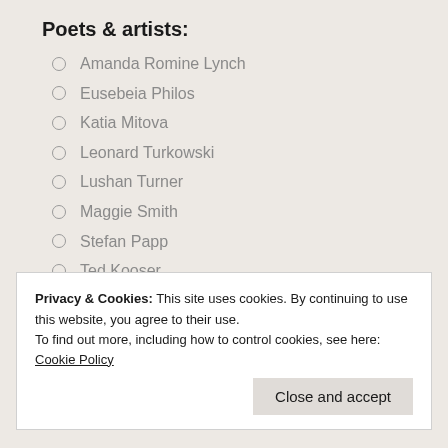Poets & artists:
Amanda Romine Lynch
Eusebeia Philos
Katia Mitova
Leonard Turkowski
Lushan Turner
Maggie Smith
Stefan Papp
Ted Kooser
Uvi Poznansky
Selected Essays:
Conrad, Europe, & Africa
Privacy & Cookies: This site uses cookies. By continuing to use this website, you agree to their use.
To find out more, including how to control cookies, see here: Cookie Policy
Close and accept